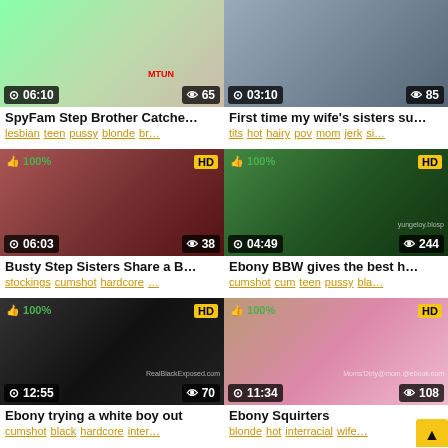[Figure (screenshot): Video thumbnail grid showing 6 adult video thumbnails with titles, tags, duration, and view counts]
SpyFam Step Brother Catche...
lesbian teen pussy blonde br...
First time my wife's sisters su...
tits hot hairy pov mom jerk si...
Busty Step Sisters Share a B...
stockings cumshot hardcore ...
Ebony BBW gives the best h...
cumshot cum teen pussy bla...
Ebony trying a white boy out
cumshot black hardcore inter...
Ebony Squirters
blonde hot interracial wife...